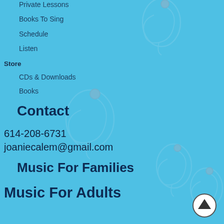Private Lessons
Books To Sing
Schedule
Listen
Store
CDs & Downloads
Books
Contact
614-208-6731
joaniecalem@gmail.com
Music For Families
Music For Adults